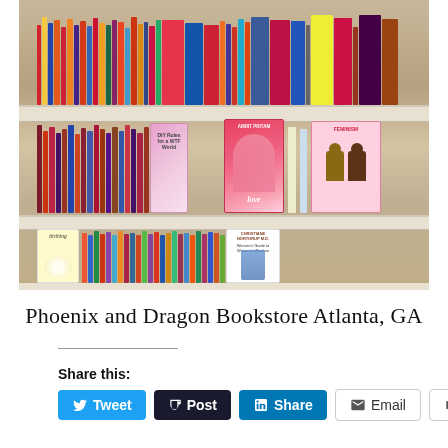[Figure (photo): Interior photo of Phoenix and Dragon Bookstore in Atlanta, GA, showing three shelves of books. Top shelf has colorful spines. Middle shelf features displayed books face-out including 'DIY Rules for a WTF World', a book by Amrit Pritam with a woman's face on the cover, and a feminism book with raised fists. Bottom shelf has many spines including 'Birthing' and a book by Christiane Northrup M.D.]
Phoenix and Dragon Bookstore Atlanta, GA
Share this:
Tweet
Post
Share
Email
More